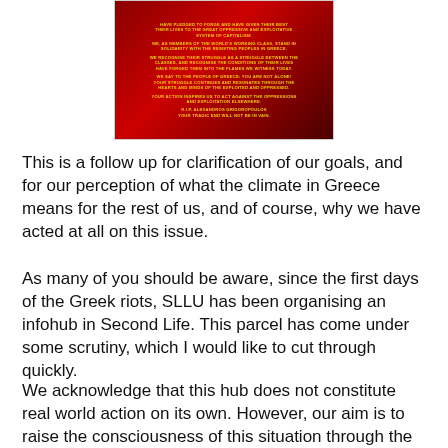[Figure (photo): A dark red poster with yellow bold text about solidarity with the people of Greece, referencing class struggle, oppression and exploitation, and ending with R.I.P. Alexandros Grigoropoulos.]
This is a follow up for clarification of our goals, and for our perception of what the climate in Greece means for the rest of us, and of course, why we have acted at all on this issue.
As many of you should be aware, since the first days of the Greek riots, SLLU has been organising an infohub in Second Life. This parcel has come under some scrutiny, which I would like to cut through quickly.
We acknowledge that this hub does not constitute real world action on its own. However, our aim is to raise the consciousness of this situation through the means we have available to us, just as indymedia or libcom have used their means. Our goal with this parcel, is to bring to the front the